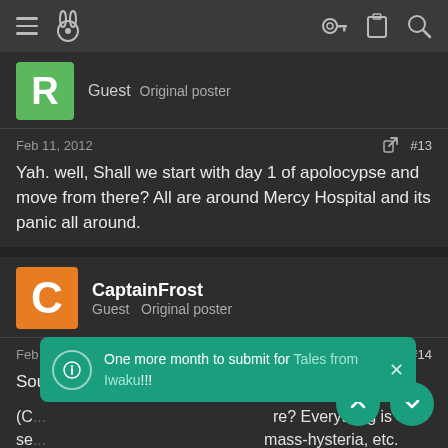Forum thread page with navigation icons
[Figure (screenshot): Green avatar with letter R, Guest Original poster user row]
Feb 11, 2012  #13
Yah. well, Shall we start with day 1 of apolocypse and move from there? All are around Mercy Hospital and its panic all around.
[Figure (screenshot): Orange avatar with letter C, CaptainFrost Guest Original poster user row]
Feb 11, 2012  #14
Sounds good :) *waits excitedly*
(C... re? Everything is se... mass-hysteria, etc. Ju...
One more month to submit for Tales from Iwaku!!!